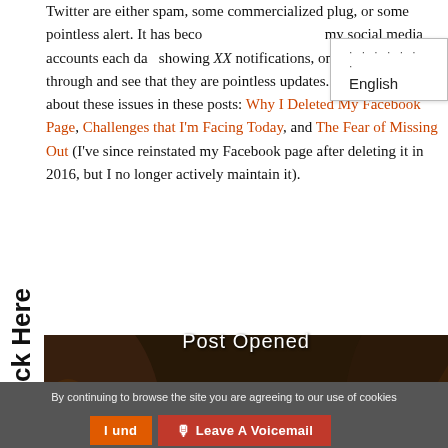Twitter are either spam, some commercialized plug, or some pointless alert. It has beco[me routine to check] my social media accounts each da[y] showing XX notifications, only to sieve through and see that they are pointless updates. I have talked about these issues in these posts: Why I Deleted My Facebook Page, Challenges that I'm Facing Today, and The Fear of Missing Out (I've since reinstated my Facebook page after deleting it in 2016, but I no longer actively maintain it).
[Figure (screenshot): Language selection popup showing 'English' option with dots above it]
[Figure (photo): Dark cinematic image showing a person viewed from behind with chains, partially overlaid with 'Post Opened' text]
By continuing to browse the site you are agreeing to our use of cookies
I und[erstand] | Leave A Voicemail